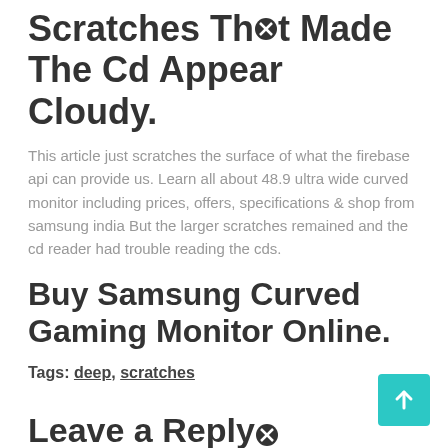Scratches That Made The Cd Appear Cloudy.
This article just scratches the surface of what the firebase api can provide us. Learn all about 48.9 ultra wide curved monitor including prices, offers, specifications & shop from samsung india But the larger scratches remained and the cd reader had trouble reading the cds.
Buy Samsung Curved Gaming Monitor Online.
Tags: deep, scratches
Leave a Reply
Your email address will not be published. Required